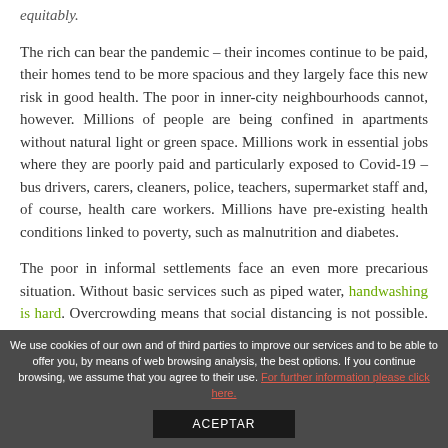equitably.
The rich can bear the pandemic – their incomes continue to be paid, their homes tend to be more spacious and they largely face this new risk in good health. The poor in inner-city neighbourhoods cannot, however. Millions of people are being confined in apartments without natural light or green space. Millions work in essential jobs where they are poorly paid and particularly exposed to Covid-19 – bus drivers, carers, cleaners, police, teachers, supermarket staff and, of course, health care workers. Millions have pre-existing health conditions linked to poverty, such as malnutrition and diabetes.
The poor in informal settlements face an even more precarious situation. Without basic services such as piped water, handwashing is hard. Overcrowding means that social distancing is not possible. Those who cannot go out to work in the day cannot feed their families in the evening. Those that travel to work, face higher exposure rates. From Barcelona to Buenos Aires, London to Lagos, the tight relationship between poverty,
We use cookies of our own and of third parties to improve our services and to be able to offer you, by means of web browsing analysis, the best options. If you continue browsing, we assume that you agree to their use. For further information please click here.